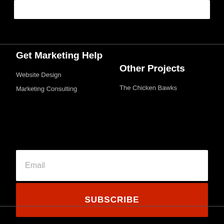[Figure (other): White bar / search or input element at the top of the page]
Get Marketing Help
Website Design
Marketing Consulting
Other Projects
The Chicken Bawks
[Figure (other): Email input field with placeholder text 'Email']
[Figure (other): Red SUBSCRIBE button]